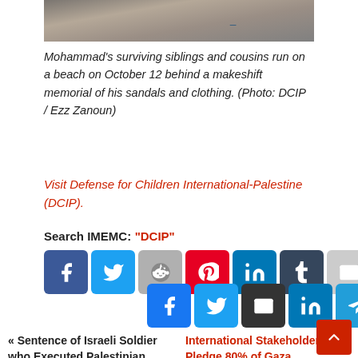[Figure (photo): Top portion of a beach photograph showing sand and sky with a blue snake/rope visible]
Mohammad's surviving siblings and cousins run on a beach on October 12 behind a makeshift memorial of his sandals and clothing. (Photo: DCIP / Ezz Zanoun)
Visit Defense for Children International-Palestine (DCIP).
Search IMEMC: "DCIP"
[Figure (infographic): Social media sharing buttons row 1: Facebook, Twitter, Reddit, Pinterest, LinkedIn, Tumblr, Email]
[Figure (infographic): Social media sharing buttons row 2: Facebook, Twitter, Email, LinkedIn, Telegram, Pinterest]
« Sentence of Israeli Soldier who Executed Palestinian
International Stakeholders Pledge 80% of Gaza Desalination